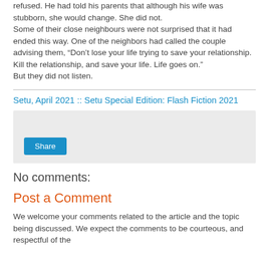refused. He had told his parents that although his wife was stubborn, she would change. She did not.
Some of their close neighbours were not surprised that it had ended this way. One of the neighbors had called the couple advising them, “Don’t lose your life trying to save your relationship. Kill the relationship, and save your life. Life goes on.”
But they did not listen.
Setu, April 2021 :: Setu Special Edition: Flash Fiction 2021
[Figure (other): Share button widget area with grey background and a blue Share button]
No comments:
Post a Comment
We welcome your comments related to the article and the topic being discussed. We expect the comments to be courteous, and respectful of the